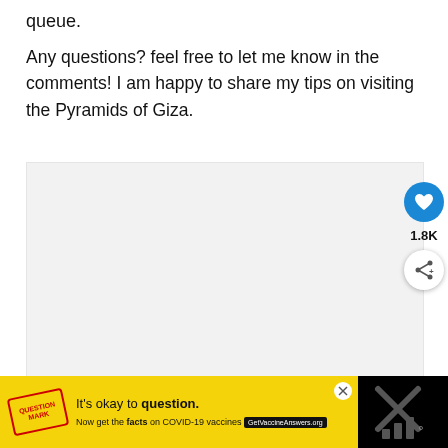queue.
Any questions? feel free to let me know in the comments! I am happy to share my tips on visiting the Pyramids of Giza.
[Figure (photo): Photo carousel placeholder with navigation dots, like button showing 1.8K, share button, and 'What's Next' overlay showing '6 Things to Know before...']
It's okay to question. Now get the facts on COVID-19 vaccines GetVaccineAnswers.org